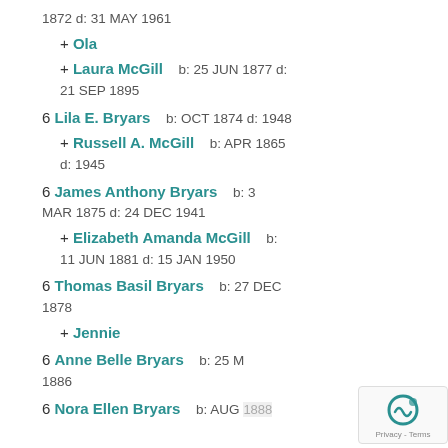1872 d: 31 MAY 1961
+ Ola
+ Laura McGill   b: 25 JUN 1877 d: 21 SEP 1895
6 Lila E. Bryars   b: OCT 1874 d: 1948
+ Russell A. McGill   b: APR 1865 d: 1945
6 James Anthony Bryars   b: 3 MAR 1875 d: 24 DEC 1941
+ Elizabeth Amanda McGill   b: 11 JUN 1881 d: 15 JAN 1950
6 Thomas Basil Bryars   b: 27 DEC 1878
+ Jennie
6 Anne Belle Bryars   b: 25 M... 1886
6 Nora Ellen Bryars   b: AUG 1888